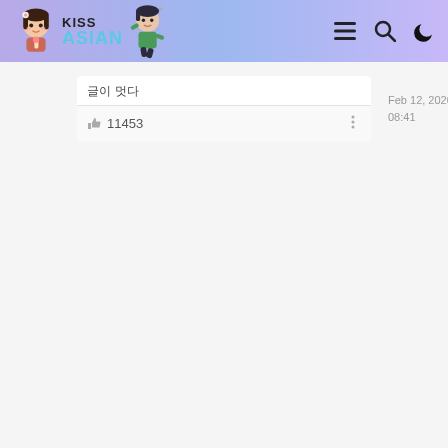KissAsian
글 이 멋다 (Korean text)
👍 11453
Feb 12, 2020 08:41